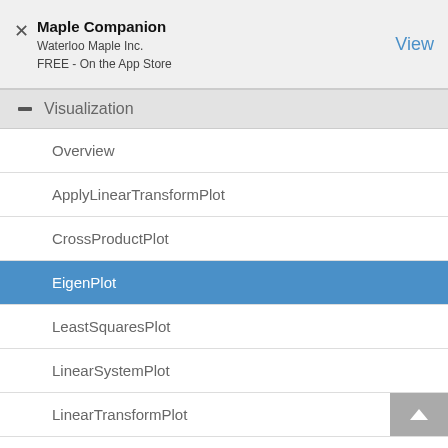Maple Companion
Waterloo Maple Inc.
FREE - On the App Store
Visualization
Overview
ApplyLinearTransformPlot
CrossProductPlot
EigenPlot
LeastSquaresPlot
LinearSystemPlot
LinearTransformPlot
PlanePlot